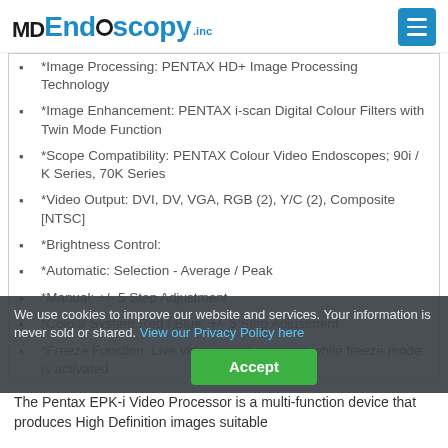MD Endoscopy .inc
*Image Processing: PENTAX HD+ Image Processing Technology
*Image Enhancement: PENTAX i-scan Digital Colour Filters with Twin Mode Function
*Scope Compatibility: PENTAX Colour Video Endoscopes; 90i / K Series, 70K Series
*Video Output: DVI, DV, VGA, RGB (2), Y/C (2), Composite [NTSC]
*Brightness Control:
*Automatic: Selection - Average / Peak
*Manual: +/- 5 Step Adjustment
*Colour System:Red / Blue; +/- 5 Step Adjustment
*Freeze Function: Live video image provided while freeze mode is activated
The Pentax EPK-i Video Processor is a multi-function device that produces High Definition images suitable